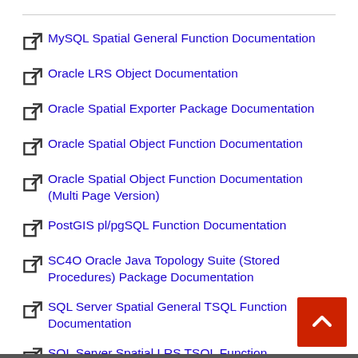MySQL Spatial General Function Documentation
Oracle LRS Object Documentation
Oracle Spatial Exporter Package Documentation
Oracle Spatial Object Function Documentation
Oracle Spatial Object Function Documentation (Multi Page Version)
PostGIS pl/pgSQL Function Documentation
SC4O Oracle Java Topology Suite (Stored Procedures) Package Documentation
SQL Server Spatial General TSQL Function Documentation
SQL Server Spatial LRS TSQL Function Documentation